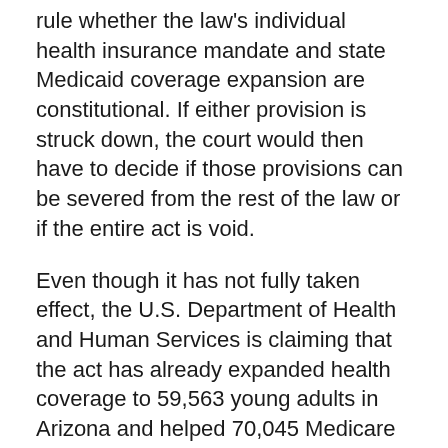rule whether the law's individual health insurance mandate and state Medicaid coverage expansion are constitutional. If either provision is struck down, the court would then have to decide if those provisions can be severed from the rest of the law or if the entire act is void.
Even though it has not fully taken effect, the U.S. Department of Health and Human Services is claiming that the act has already expanded health coverage to 59,563 young adults in Arizona and helped 70,045 Medicare patients in the state with prescription drug costs.
The department said Arizona has also received $30.8 million in grants under the law to develop and implement an Affordable Insurance Exchange – a